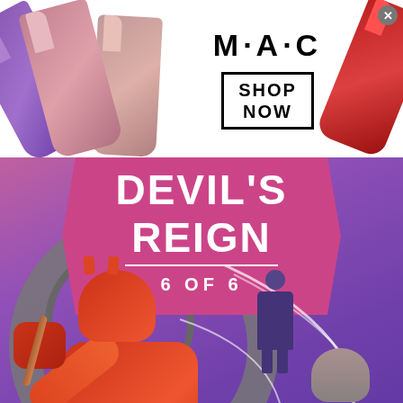[Figure (photo): MAC Cosmetics banner advertisement showing colorful lipsticks (purple, pink, mauve, red) on white background with MAC logo and SHOP NOW button in black border box]
[Figure (illustration): Comic book cover for Devil's Reign 6 of 6, showing Daredevil in red costume in foreground, purple-suited villain in mid-ground, large bald villain at right, with pink diamond-shaped title banner]
[Figure (photo): Wayfair.com advertisement banner showing Online Home Store Sale with Wayfair thumbnail image, blue title text, description text, green URL, and blue circular arrow button]